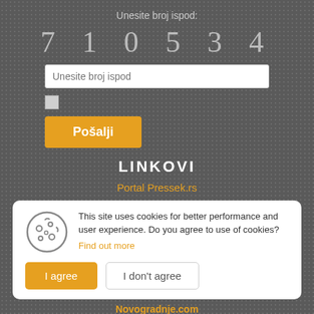Unesite broj ispod:
[Figure (other): CAPTCHA number display showing digits 7 1 0 5 3 4 in large gray text on dark background]
[Figure (other): Text input field with placeholder 'Unesite broj ispod']
[Figure (other): Checkbox (unchecked)]
[Figure (other): Submit button labeled 'Pošalji' in orange]
LINKOVI
Portal Pressek.rs
This site uses cookies for better performance and user experience. Do you agree to use of cookies? Find out more
[Figure (other): Cookie consent dialog with I agree and I don't agree buttons]
Novogradnje.com